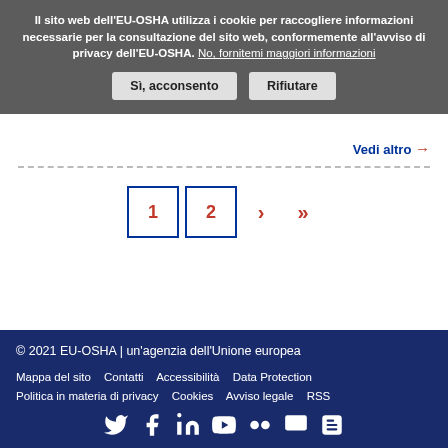Il sito web dell'EU-OSHA utilizza i cookie per raccogliere informazioni necessarie per la consultazione del sito web, conformemente all'avviso di privacy dell'EU-OSHA. No, fornitemi maggiori informazioni
Sì, acconsento | Rifiutare
Vedi altro →
1  2  ›  »
© 2021 EU-OSHA | un'agenzia dell'Unione europea
Mappa del sito  Contatti  Accessibilità  Data Protection
Politica in materia di privacy  Cookies  Avviso legale  RSS